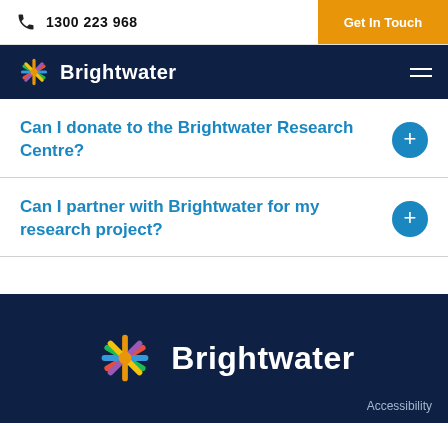1300 223 968 | Get In Touch
[Figure (logo): Brightwater logo with colorful star icon and white text on dark navy navigation bar]
Can I donate to the Brightwater Research Centre?
Can I partner with Brightwater for my research project?
[Figure (logo): Brightwater logo large with colorful star icon and white text on dark navy footer, Accessibility link at bottom right]